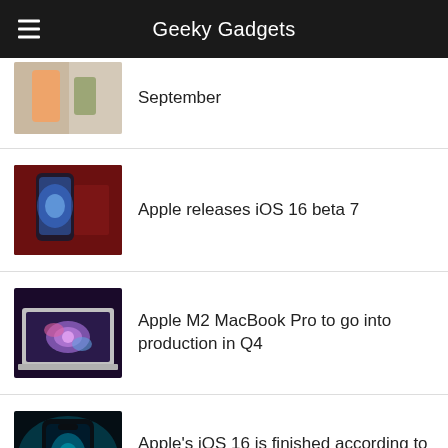Geeky Gadgets
September
Apple releases iOS 16 beta 7
Apple M2 MacBook Pro to go into production in Q4
Apple's iOS 16 is finished according to report